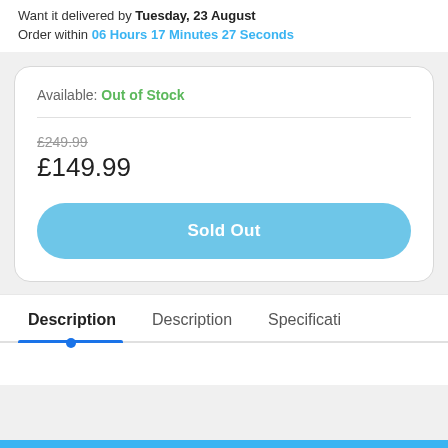Want it delivered by Tuesday, 23 August
Order within 06 Hours 17 Minutes 27 Seconds
Available: Out of Stock
£249.99
£149.99
Sold Out
Description
Description
Specificati